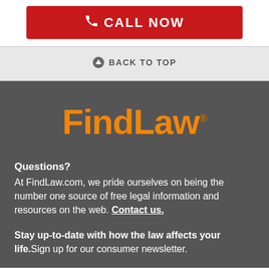[Figure (other): Red CALL NOW button with phone icon]
↑ BACK TO TOP
[Figure (logo): FindLaw orange logo with registered trademark symbol]
Questions?
At FindLaw.com, we pride ourselves on being the number one source of free legal information and resources on the web. Contact us.
Stay up-to-date with how the law affects your life. Sign up for our consumer newsletter.